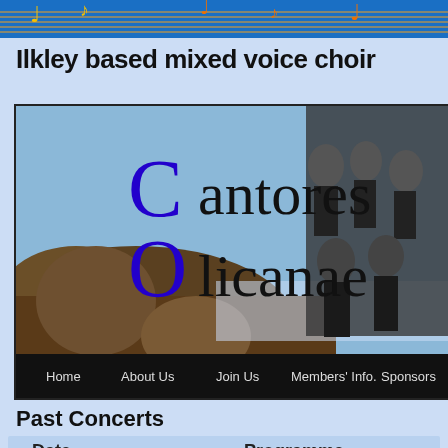Ilkley based mixed voice choir
[Figure (screenshot): Cantores Olicanae choir website banner with landscape background showing rocky moorland, choir image on right, large logo text 'Cantores Olicanae' with decorative C and O in blue, and navigation bar at bottom with links: Home, About Us, Join Us, Members' Info., Sponsors, Links]
Past Concerts
| Date | Programme |
| --- | --- |